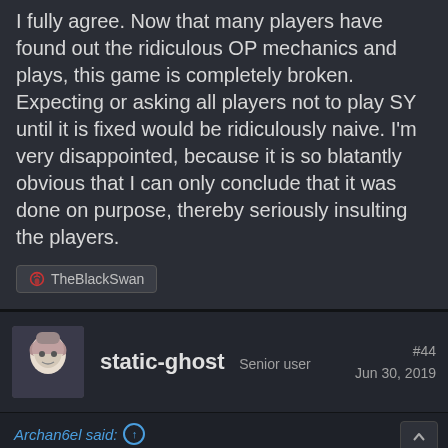I fully agree. Now that many players have found out the ridiculous OP mechanics and plays, this game is completely broken. Expecting or asking all players not to play SY until it is fixed would be ridiculously naive. I'm very disappointed, because it is so blatantly obvious that I can only conclude that it was done on purpose, thereby seriously insulting the players.
TheBlackSwan
static-ghost  Senior user  #44  Jun 30, 2019
Archan6el said:
this game is completely broken it was done on purpose